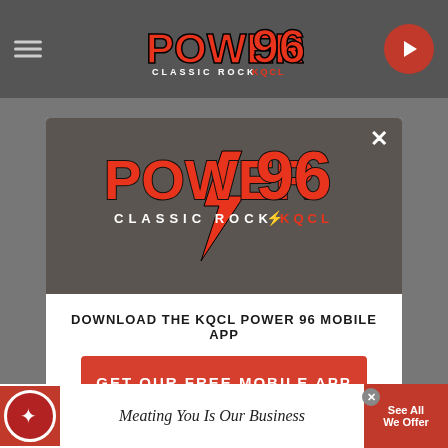[Figure (screenshot): Power 96 Classic Rock KQCL radio station website screenshot with a modal popup dialog]
[Figure (logo): Power 96 Classic Rock KQCL logo in modal header — red and white text on dark background]
DOWNLOAD THE KQCL POWER 96 MOBILE APP
GET OUR FREE MOBILE APP
Also listen on:  amazon alexa
[Figure (infographic): Bottom advertisement banner: Country Market — Meating You Is Our Business / See All We Offer]